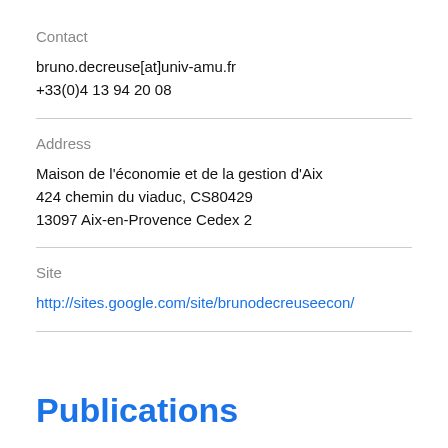Contact
bruno.decreuse[at]univ-amu.fr
+33(0)4 13 94 20 08
Address
Maison de l'économie et de la gestion d'Aix
424 chemin du viaduc, CS80429
13097 Aix-en-Provence Cedex 2
Site
http://sites.google.com/site/brunodecreuseecon/
Publications